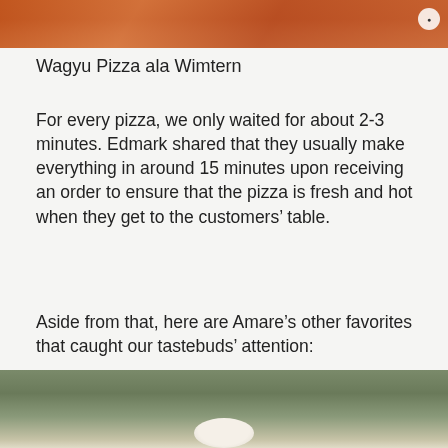[Figure (photo): Top portion of a pizza photo, partially visible at the top of the page]
Wagyu Pizza ala Wimtern
For every pizza, we only waited for about 2-3 minutes. Edmark shared that they usually make everything in around 15 minutes upon receiving an order to ensure that the pizza is fresh and hot when they get to the customers’ table.
Aside from that, here are Amare’s other favorites that caught our tastebuds’ attention:
[Figure (photo): Bottom portion of a food photo, partially visible at the bottom of the page, showing a blurred outdoor background with a plate]